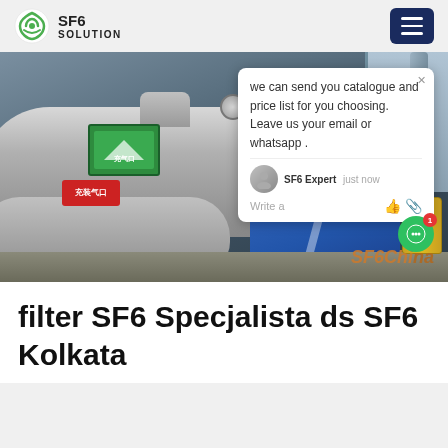SF6 SOLUTION
[Figure (photo): A worker in a blue hard hat and blue coveralls working on large industrial SF6 gas equipment/pipes. A green sign and red Chinese text sign are visible. A chat popup overlay shows: 'we can send you catalogue and price list for you choosing. Leave us your email or whatsapp .' with SF6 Expert just now. SF6China watermark in orange at bottom right.]
filter SF6 Specjalista ds SF6 Kolkata